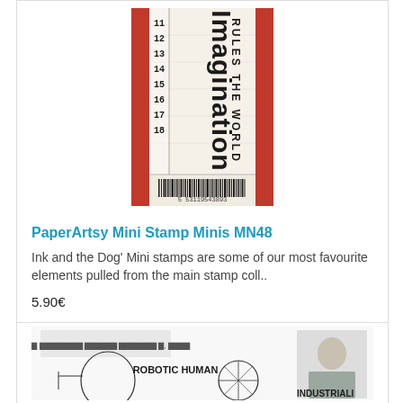[Figure (photo): PaperArtsy Mini Stamp MN48 product image showing a vintage-style stamp with 'Imagination Rules The World' text, numbers 11-18 in a column, red borders, and a barcode at the bottom]
PaperArtsy Mini Stamp Minis MN48
Ink and the Dog' Mini stamps are some of our most favourite elements pulled from the main stamp coll..
5.90€
[Figure (illustration): Product image showing vintage/industrial stamp set with robotic human head, compass, group photo, soldier portrait, and text 'ROBOTIC HUMAN', 'INDUSTRIALI']